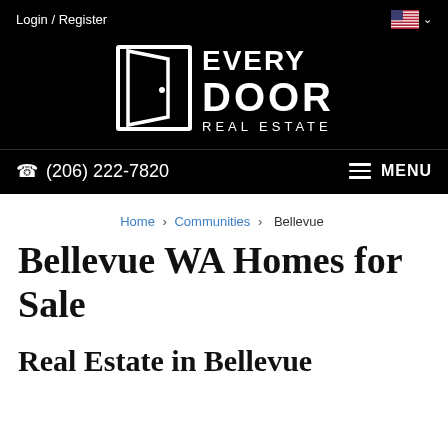Login / Register
[Figure (logo): Every Door Real Estate logo — white door icon with 'EVERY DOOR REAL ESTATE' text on black background]
(206) 222-7820   MENU
Home > Communities > Bellevue
Bellevue WA Homes for Sale
Real Estate in Bellevue